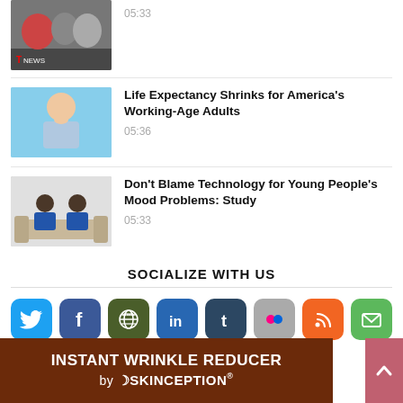[Figure (photo): Partial article thumbnail at top showing crowd/news scene]
05:33
[Figure (photo): Man resting chin on hand, looking tired/sad, blue background]
Life Expectancy Shrinks for America's Working-Age Adults
05:36
[Figure (photo): Two people sitting back-to-back on a couch]
Don't Blame Technology for Young People's Mood Problems: Study
05:33
SOCIALIZE WITH US
[Figure (infographic): Row of social media icons: Twitter, Facebook, Web, LinkedIn, Tumblr, Flickr, RSS, Email]
[Figure (photo): Ad banner: INSTANT WRINKLE REDUCER by SKINCEPTION]